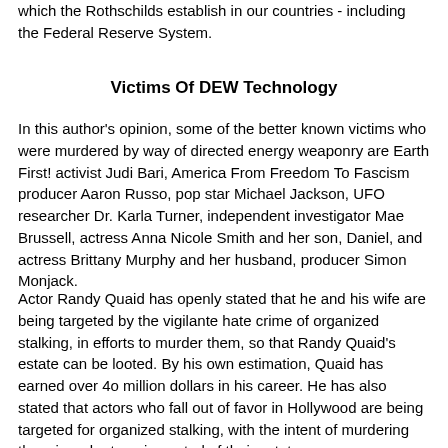which the Rothschilds establish in our countries - including the Federal Reserve System.
Victims Of DEW Technology
In this author's opinion, some of the better known victims who were murdered by way of directed energy weaponry are Earth First! activist Judi Bari, America From Freedom To Fascism producer Aaron Russo, pop star Michael Jackson, UFO researcher Dr. Karla Turner, independent investigator Mae Brussell, actress Anna Nicole Smith and her son, Daniel, and actress Brittany Murphy and her husband, producer Simon Monjack.
Actor Randy Quaid has openly stated that he and his wife are being targeted by the vigilante hate crime of organized stalking, in efforts to murder them, so that Randy Quaid's estate can be looted. By his own estimation, Quaid has earned over 4o million dollars in his career. He has also stated that actors who fall out of favor in Hollywood are being targeted for organized stalking, with the intent of murdering them in order to gain control of their estates.